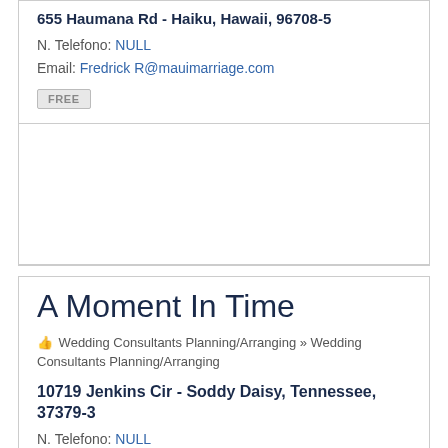655 Haumana Rd - Haiku, Hawaii, 96708-5
N. Telefono: NULL
Email: Fredrick R@mauimarriage.com
FREE
A Moment In Time
Wedding Consultants Planning/Arranging » Wedding Consultants Planning/Arranging
10719 Jenkins Cir - Soddy Daisy, Tennessee, 37379-3
N. Telefono: NULL
Email: Lisa RS@amomentintime.net